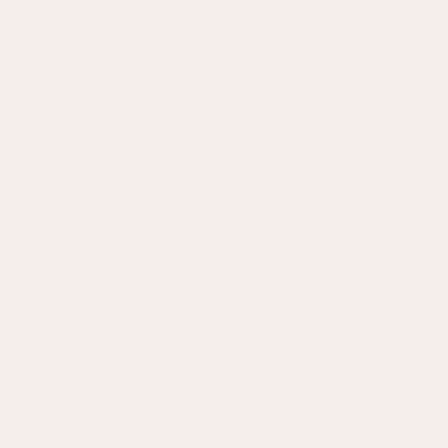http://www.uggsaustralia.net.co
http://www.ugg-italia.it
http://www.cheapjordansshoes.in
http://www.uggoutletstore.net.co
http://oakley.sunglassescheap.us
http://www.katespadestoreoutlet.
http://www.pandorajewelrycanada
http://www.swarovski-jewelry.nam
http://www.poloralphlauren-outlet
http://www.doudounecanada-goo
http://www.vansshoesoutlet-store
http://www.truereligionsale.com.c
http://www.nike-airmaxuk.me.uk
http://www.outletuggs.net.co
http://www.birkenstockshoes.org.
http://www.niketrainers.org.uk
http://www.uggslippers.us.org
http://www.pandora-jewelry.me.uk
http://www.uggbootsclearance.ne
http://www.longchampoutlet-onlin
http://www.toryburchoutletoff.us.c
http://www.michael-kors-outlet.eu
http://www.thenorthfaceclearance
http://www.uggclearancesale.in.n
http://www.cheapreplicawatches.
http://www.coach-outlet.nom.co
http://www.snapbackshatswhole s
http://www.hermesbirkinhandbag